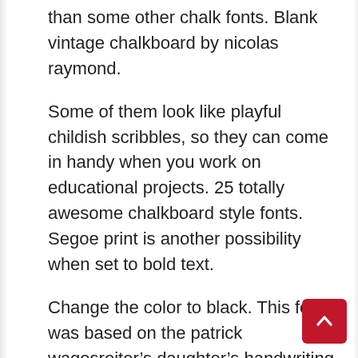than some other chalk fonts. Blank vintage chalkboard by nicolas raymond.
Some of them look like playful childish scribbles, so they can come in handy when you work on educational projects. 25 totally awesome chalkboard style fonts. Segoe print is another possibility when set to bold text.
Change the color to black. This font was based on the patrick wagesreiter’s daughter’s handwriting. Just like google docs, google slides have a wide array of fonts that look like handwriting.
So in this post we provide you a selection of 25 totally awesome chalkboard fonts to try. Every font is from the chalkboard writing fonts in...